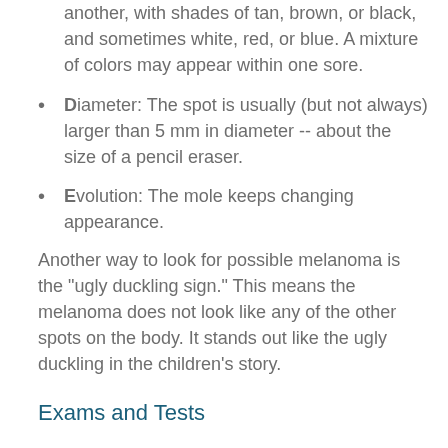Color: Color changes from one area to another, with shades of tan, brown, or black, and sometimes white, red, or blue. A mixture of colors may appear within one sore.
Diameter: The spot is usually (but not always) larger than 5 mm in diameter -- about the size of a pencil eraser.
Evolution: The mole keeps changing appearance.
Another way to look for possible melanoma is the "ugly duckling sign." This means the melanoma does not look like any of the other spots on the body. It stands out like the ugly duckling in the children's story.
Exams and Tests